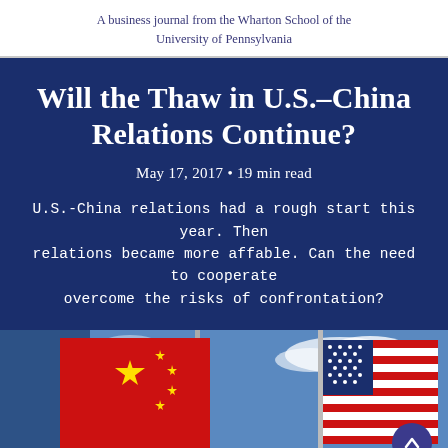A business journal from the Wharton School of the University of Pennsylvania
Will the Thaw in U.S.–China Relations Continue?
May 17, 2017 • 19 min read
U.S.-China relations had a rough start this year. Then relations became more affable. Can the need to cooperate overcome the risks of confrontation?
[Figure (photo): Chinese flag (red with yellow stars) and American flag (stars and stripes) side by side against a blue sky with clouds]